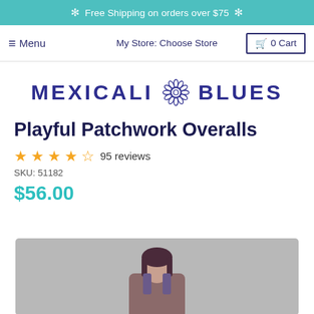Free Shipping on orders over $75
Menu   My Store: Choose Store   0 Cart
[Figure (logo): Mexicali Blues logo with decorative flower/mandala icon between the two words, in dark navy/indigo color]
Playful Patchwork Overalls
★★★★☆ 95 reviews
SKU: 51182
$56.00
[Figure (photo): Photo of a person (woman with dark hair) wearing the Playful Patchwork Overalls, against a light gray background, cropped to show upper body and face]